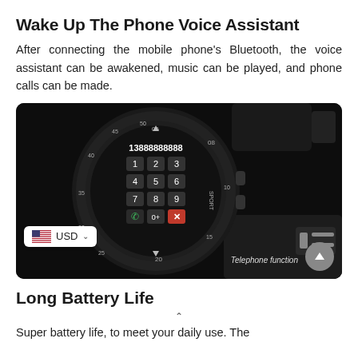Wake Up The Phone Voice Assistant
After connecting the mobile phone's Bluetooth, the voice assistant can be awakened, music can be played, and phone calls can be made.
[Figure (photo): Close-up photograph of a black smartwatch showing a phone dialer screen with number 13888888888 and keypad digits 1-9, 0+, green call button, and red X button. The watch has a sport bezel with 'SPORT' text. A currency selector showing USD with US flag is overlaid at bottom-left. A scroll-up button is at bottom-right. 'Telephone function' label appears at bottom-right of the image.]
Long Battery Life
Super battery life, to meet your daily use. The